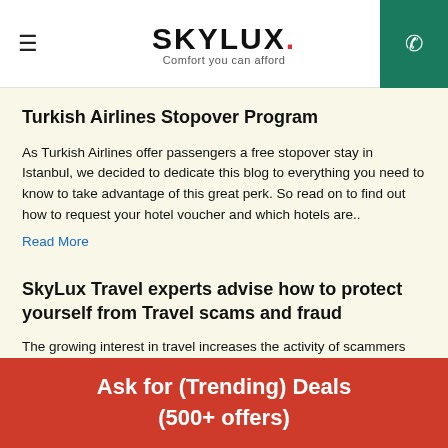SKYLUX. Comfort you can afford
Turkish Airlines Stopover Program
As Turkish Airlines offer passengers a free stopover stay in Istanbul, we decided to dedicate this blog to everything you need to know to take advantage of this great perk. So read on to find out how to request your hotel voucher and which hotels are..
Read More
SkyLux Travel experts advise how to protect yourself from Travel scams and fraud
The growing interest in travel increases the activity of scammers looking to take advantage, SkyLux Travel experts warn. According to the Bureau of Transportation Statistics, the 16-week period between Memorial Day and Labor Day weekend has historica
Ask for (Trending) Deals (500+ offers)